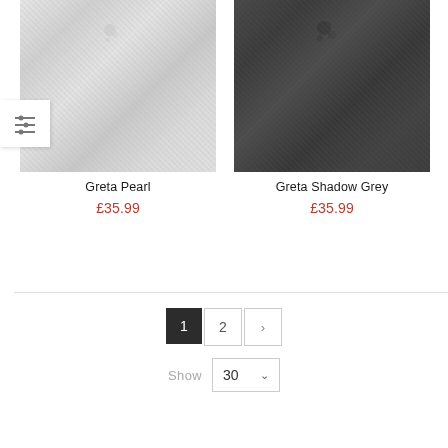[Figure (photo): Close-up of light grey/pearl woven fabric texture]
Greta Pearl
£35.99
[Figure (photo): Close-up of dark shadow grey woven fabric texture]
Greta Shadow Grey
£35.99
1 2 ›
Show 30